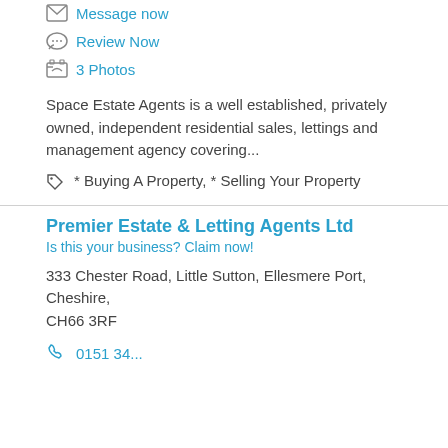Message now
Review Now
3 Photos
Space Estate Agents is a well established, privately owned, independent residential sales, lettings and management agency covering...
* Buying A Property, * Selling Your Property
Premier Estate & Letting Agents Ltd
Is this your business? Claim now!
333 Chester Road, Little Sutton, Ellesmere Port, Cheshire, CH66 3RF
0151 34...